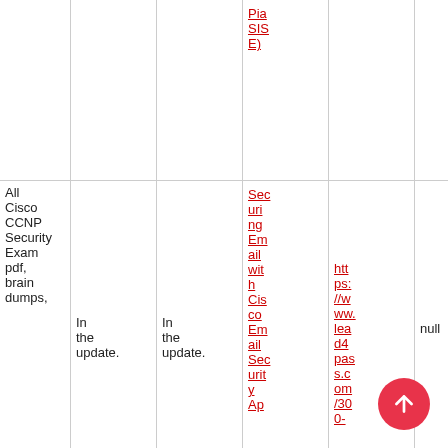|  |  |  |  |  |  |
| --- | --- | --- | --- | --- | --- |
|  |  |  | Pia SIS E) |  |  |
| All Cisco CCNP Security Exam pdf, brain dumps, | In the update. | In the update. | Securing Email with Cisco Email Security Ap | https://www.lead4pass.com/30 | null |